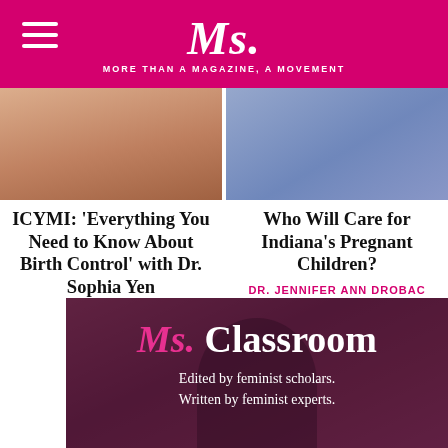Ms. — MORE THAN A MAGAZINE, A MOVEMENT
[Figure (photo): Thumbnail image left — warm toned photo]
[Figure (photo): Thumbnail image right — cool toned group photo]
ICYMI: ‘Everything You Need to Know About Birth Control’ with Dr. Sophia Yen
ROXY SZAL
Who Will Care for Indiana’s Pregnant Children?
DR. JENNIFER ANN DROBAC
[Figure (photo): Ms. Classroom banner with dark background showing a person, overlay text: Ms. Classroom — Edited by feminist scholars. Written by feminist experts.]
Edited by feminist scholars. Written by feminist experts.